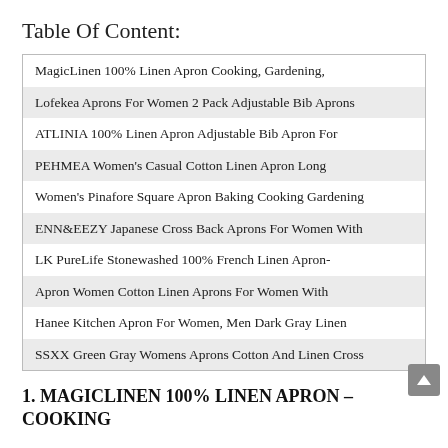Table Of Content:
MagicLinen 100% Linen Apron Cooking, Gardening,
Lofekea Aprons For Women 2 Pack Adjustable Bib Aprons
ATLINIA 100% Linen Apron Adjustable Bib Apron For
PEHMEA Women's Casual Cotton Linen Apron Long
Women's Pinafore Square Apron Baking Cooking Gardening
ENN&EEZY Japanese Cross Back Aprons For Women With
LK PureLife Stonewashed 100% French Linen Apron-
Apron Women Cotton Linen Aprons For Women With
Hanee Kitchen Apron For Women, Men Dark Gray Linen
SSXX Green Gray Womens Aprons Cotton And Linen Cross
1. MAGICLINEN 100% LINEN APRON – COOKING